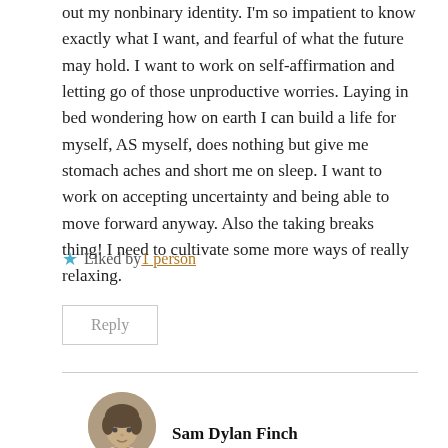out my nonbinary identity. I'm so impatient to know exactly what I want, and fearful of what the future may hold. I want to work on self-affirmation and letting go of those unproductive worries. Laying in bed wondering how on earth I can build a life for myself, AS myself, does nothing but give me stomach aches and short me on sleep. I want to work on accepting uncertainty and being able to move forward anyway. Also the taking breaks thing! I need to cultivate some more ways of really relaxing.
★ Liked by 1 person
Reply
[Figure (photo): Circular avatar photo of Sam Dylan Finch, a person with curly hair wearing a light jacket and orange shirt]
Sam Dylan Finch